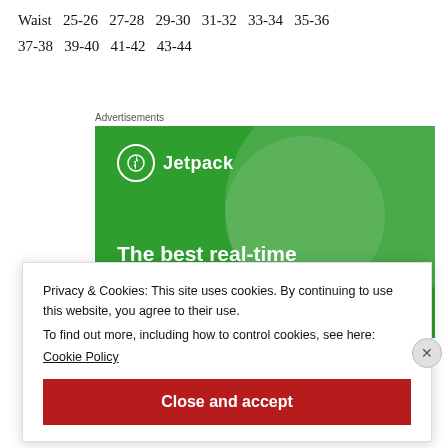Waist 25-26 27-28 29-30 31-32 33-34 35-36 37-38 39-40 41-42 43-44
Advertisements
[Figure (screenshot): Jetpack advertisement banner with green background showing 'The best real-time WordPress backup plugin' text and Jetpack logo]
Privacy & Cookies: This site uses cookies. By continuing to use this website, you agree to their use.
To find out more, including how to control cookies, see here:
Cookie Policy
Close and accept